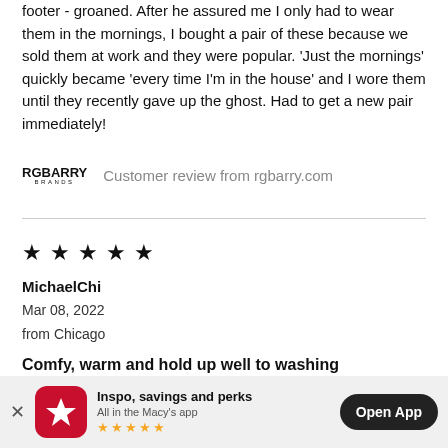footer - groaned. After he assured me I only had to wear them in the mornings, I bought a pair of these because we sold them at work and they were popular. 'Just the mornings' quickly became 'every time I'm in the house' and I wore them until they recently gave up the ghost. Had to get a new pair immediately!
RGBARRY BRANDS  Customer review from rgbarry.com
[Figure (other): Five black filled star icons indicating a 5-star review rating]
MichaelChi
Mar 08, 2022
from Chicago
Comfy, warm and hold up well to washing
[Figure (infographic): Macy's app promotional banner with red star logo, text 'Inspo, savings and perks / All in the Macy's app' with 5 gold stars, and a dark Open App button]